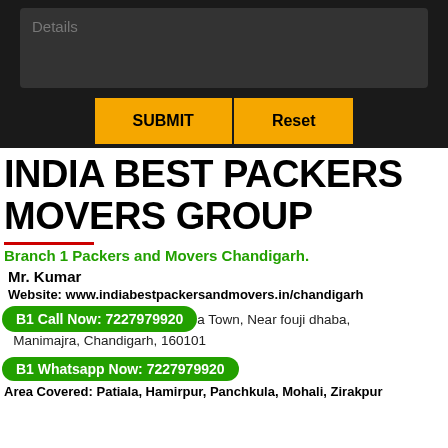[Figure (screenshot): Dark form section with a Details textarea and two buttons: SUBMIT and Reset, styled with gold/amber color on dark background]
INDIA BEST PACKERS MOVERS GROUP
Branch 1 Packers and Movers Chandigarh.
Mr. Kumar
Website: www.indiabestpackersandmovers.in/chandigarh
B1 Call Now: 7227979920
a Town, Near fouji dhaba, Manimajra, Chandigarh, 160101
B1 Whatsapp Now: 7227979920
Area Covered: Patiala, Hamirpur, Panchkula, Mohali, Zirakpur